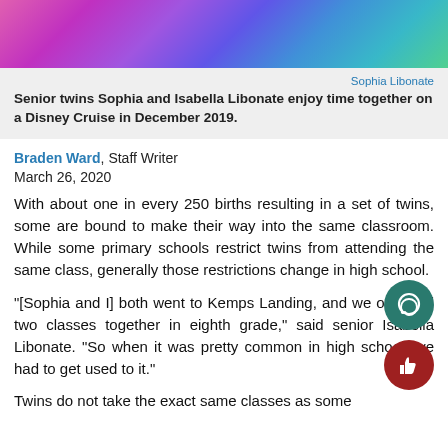[Figure (photo): Colorful Disney-themed image at top of article]
Sophia Libonate
Senior twins Sophia and Isabella Libonate enjoy time together on a Disney Cruise in December 2019.
Braden Ward, Staff Writer
March 26, 2020
With about one in every 250 births resulting in a set of twins, some are bound to make their way into the same classroom. While some primary schools restrict twins from attending the same class, generally those restrictions change in high school.
“[Sophia and I] both went to Kemps Landing, and we only had two classes together in eighth grade,” said senior Isabella Libonate. “So when it was pretty common in high school, we had to get used to it.”
Twins do not take the exact same classes as some